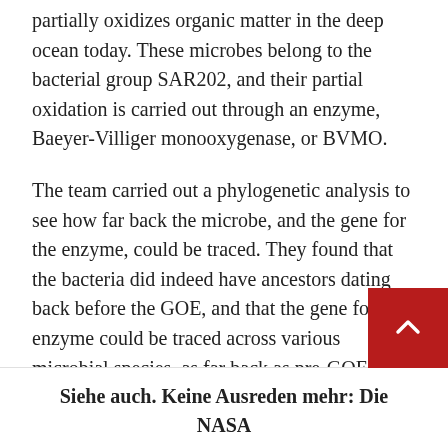partially oxidizes organic matter in the deep ocean today. These microbes belong to the bacterial group SAR202, and their partial oxidation is carried out through an enzyme, Baeyer-Villiger monooxygenase, or BVMO.
The team carried out a phylogenetic analysis to see how far back the microbe, and the gene for the enzyme, could be traced. They found that the bacteria did indeed have ancestors dating back before the GOE, and that the gene for the enzyme could be traced across various microbial species, as far back as pre-GOE times.
What’s more, they found that the gene’s diversification, or the number of species that acquired the gene, increased significantly during times when the atmosphere experienced spikes in oxygenation, including once during the GOE’s Paleoproterozoic, again in the Neoproterozoic.
Siehe auch. Keine Ausreden mehr: Die NASA